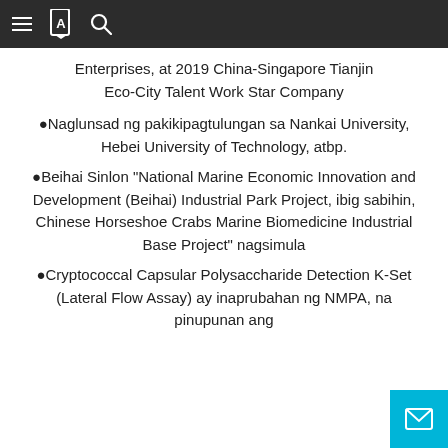≡ [book icon] 🔍
Enterprises, at 2019 China-Singapore Tianjin Eco-City Talent Work Star Company
●Naglunsad ng pakikipagtulungan sa Nankai University, Hebei University of Technology, atbp.
●Beihai Sinlon "National Marine Economic Innovation and Development (Beihai) Industrial Park Project, ibig sabihin, Chinese Horseshoe Crabs Marine Biomedicine Industrial Base Project" nagsimula
●Cryptococcal Capsular Polysaccharide Detection K-Set (Lateral Flow Assay) ay inaprubahan ng NMPA, na pinupunan ang